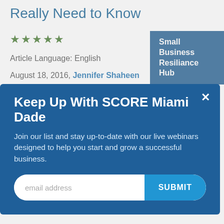Really Need to Know
★★★★★
Article Language: English
August 18, 2016, Jennifer Shaheen
Here are tips on the latest Google advertising products for your small business and how to keep up to date on changes.
Small Business Resiliance Hub
Keep Up With SCORE Miami Dade
Join our list and stay up-to-date with our live webinars designed to help you start and grow a successful business.
email address  SUBMIT